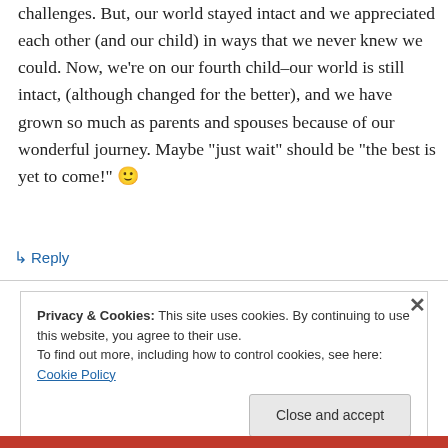challenges. But, our world stayed intact and we appreciated each other (and our child) in ways that we never knew we could. Now, we’re on our fourth child–our world is still intact, (although changed for the better), and we have grown so much as parents and spouses because of our wonderful journey. Maybe “just wait” should be “the best is yet to come!” 🙂
↳ Reply
Privacy & Cookies: This site uses cookies. By continuing to use this website, you agree to their use.
To find out more, including how to control cookies, see here: Cookie Policy
Close and accept